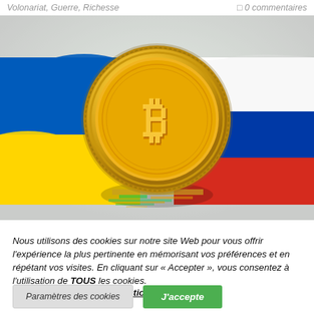Volonariat, Guerre, Richesse   □ 0 commentaires
[Figure (illustration): Bitcoin gold coin centered between Ukrainian flag (blue and yellow) on the left and Russian flag (white, blue, red) on the right, with a glitch/digital effect below the coin.]
Nous utilisons des cookies sur notre site Web pour vous offrir l'expérience la plus pertinente en mémorisant vos préférences et en répétant vos visites. En cliquant sur « Accepter », vous consentez à l'utilisation de TOUS les cookies.
Ne pas vendre mes informations personnelles.
Paramètres des cookies   J'accepte